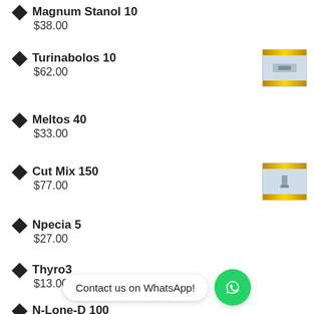Magnum Stanol 10
$38.00
Turinabolos 10
$62.00
Meltos 40
$33.00
Cut Mix 150
$77.00
Npecia 5
$27.00
Thyro3
$13.00
N-Lone-D 100
$69.00
Contact us on WhatsApp!